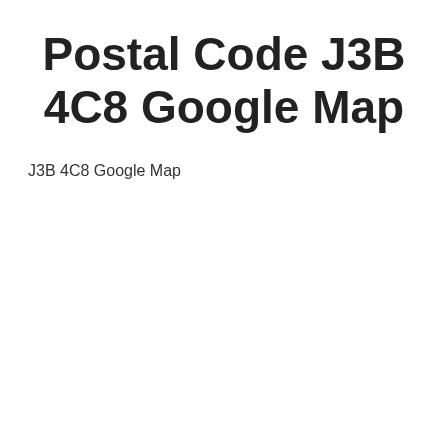Postal Code J3B 4C8 Google Map
J3B 4C8 Google Map